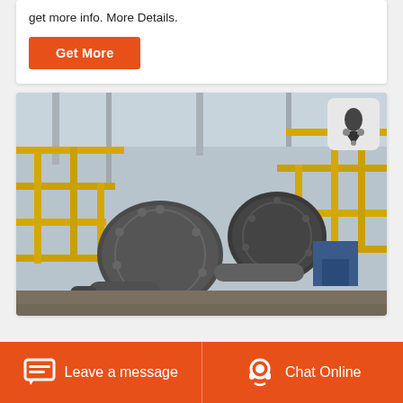get more info. More Details.
Get More
[Figure (photo): Industrial ball mill machinery inside a warehouse with yellow steel walkways and staircases, large cylindrical grinding mills visible]
Leave a message
Chat Online